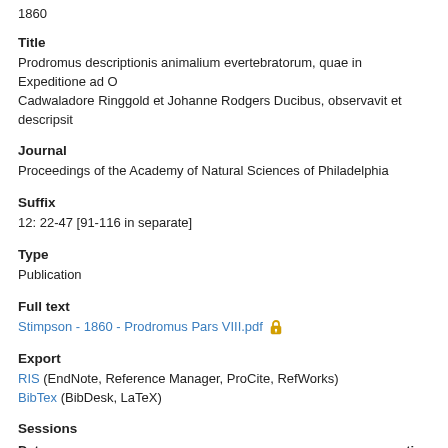1860
Title
Prodromus descriptionis animalium evertebratorum, quae in Expeditione ad O Cadwaladore Ringgold et Johanne Rodgers Ducibus, observavit et descripsit
Journal
Proceedings of the Academy of Natural Sciences of Philadelphia
Suffix
12: 22-47 [91-116 in separate]
Type
Publication
Full text
Stimpson - 1860 - Prodromus Pars VIII.pdf (open access lock icon)
Export
RIS (EndNote, Reference Manager, ProCite, RefWorks)
BibTex (BibDesk, LaTeX)
Sessions
| Date | action |
| --- | --- |
| 2013-01-12 18:30:12Z | created |